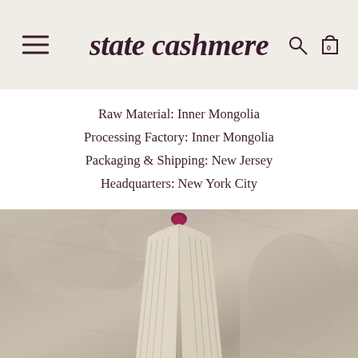state cashmere
Raw Material: Inner Mongolia
Processing Factory: Inner Mongolia
Packaging & Shipping: New Jersey
Headquarters: New York City
[Figure (photo): A cashmere sweater or garment hanging on a pink/purple hook against a rocky stone wall texture background]